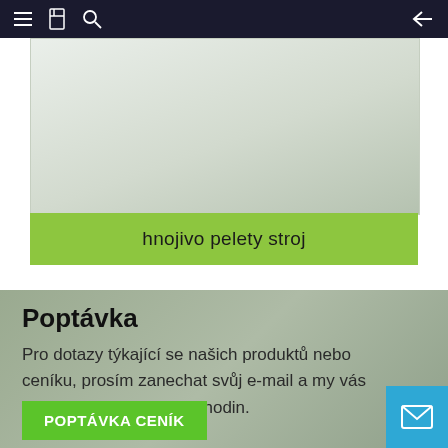Navigation bar with menu, bookmark, search icons and back arrow
[Figure (photo): Product image area - light gray-green background, appears to show a machine (pellet press/fertilizer machine)]
hnojivo pelety stroj
Poptávka
Pro dotazy týkající se našich produktů nebo ceníku, prosím zanechat svůj e-mail a my vás bude kontaktovat do 24 hodin.